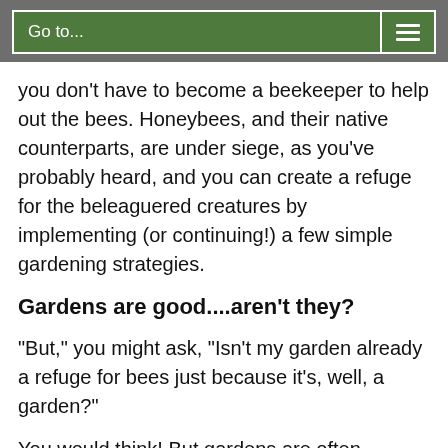Go to...
you don't have to become a beekeeper to help out the bees. Honeybees, and their native counterparts, are under siege, as you've probably heard, and you can create a refuge for the beleaguered creatures by implementing (or continuing!) a few simple gardening strategies.
Gardens are good....aren't they?
“But,” you might ask, “Isn't my garden already a refuge for bees just because it's, well, a garden?”
You would think! But gardens are often planted with people, not bees, in mind. Flowers are bred for show rather than for their pollen and nectar loads or easy pollinator access. What pleases our eyes